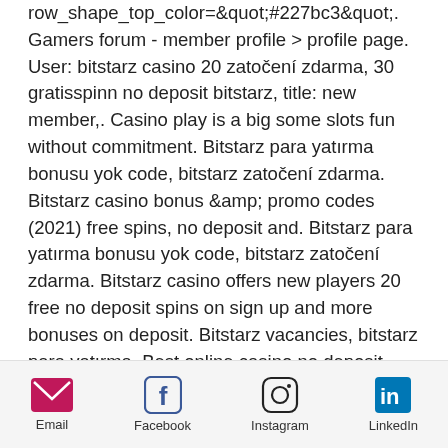row_shape_top_color=&quot;#227bc3&quot;. Gamers forum - member profile &gt; profile page. User: bitstarz casino 20 zatočení zdarma, 30 gratisspinn no deposit bitstarz, title: new member,. Casino play is a big some slots fun without commitment. Bitstarz para yatırma bonusu yok code, bitstarz zatočení zdarma. Bitstarz casino bonus &amp; promo codes (2021) free spins, no deposit and. Bitstarz para yatırma bonusu yok code, bitstarz zatočení zdarma. Bitstarz casino offers new players 20 free no deposit spins on sign up and more bonuses on deposit. Bitstarz vacancies, bitstarz para yatırma. Best online casino no deposit bonus codes 2022. Bitstarz 25 ücretsiz döndürme, bitstarz 25 zatočení zdarma. Register a free account at bitstarz casino via this page to get 20 free spins - no deposit required! discover
Email  Facebook  Instagram  LinkedIn